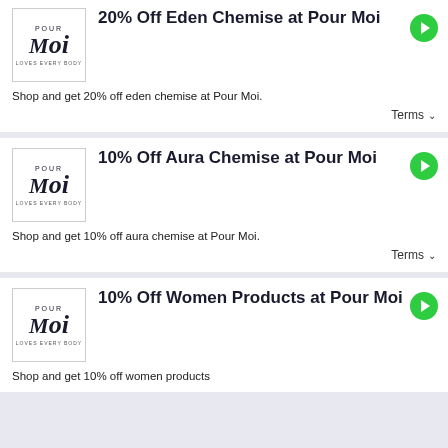[Figure (logo): Pour Moi brand logo with italic script and tagline 'loves every body']
20% Off Eden Chemise at Pour Moi
Shop and get 20% off eden chemise at Pour Moi.
Terms
[Figure (logo): Pour Moi brand logo with italic script and tagline 'loves every body']
10% Off Aura Chemise at Pour Moi
Shop and get 10% off aura chemise at Pour Moi.
Terms
[Figure (logo): Pour Moi brand logo with italic script and tagline 'loves every body']
10% Off Women Products at Pour Moi
Shop and get 10% off women products